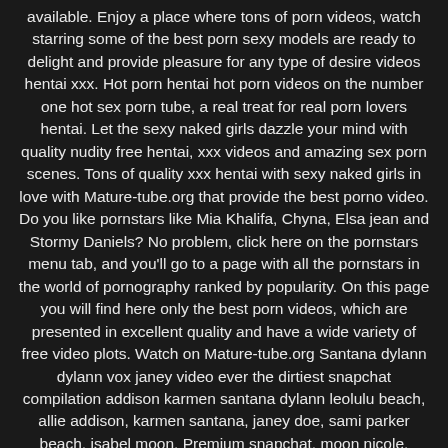available. Enjoy a place where tons of porn videos, watch starring some of the best porn sexy models are ready to delight and provide pleasure for any type of desire videos hentai xxx. Hot porn hentai hot porn videos on the number one hot sex porn tube, a real treat for real porn lovers hentai. Let the sexy naked girls dazzle your mind with quality nudity free hentai, xxx videos and amazing sex porn scenes. Tons of quality xxx hentai with sexy naked girls in love with Mature-tube.org that provide the best porno video. Do you like pornstars like Mia Khalifa, Chyna, Elsa jean and Stormy Daniels? No problem, click here on the pornstars menu tab, and you'll go to a page with all the pornstars in the world of pornography ranked by popularity. On this page you will find here only the best porn videos, which are presented in excellent quality and have a wide variety of free video plots. Watch on Mature-tube.org Santana dylann dylann vox janey video ever the dirtiest snapchat compilation addison karmen santana dylann leolulu beach, allie addison, karmen santana, janey doe, sami parker beach, isabel moon. Premium snapchat, moon nicole, arbour leolulu, isabel moon, nicole pergole, arbour leolulu, beach allie, porn tube site. Free sex is the most irtiest porn ever! isabel nicole, arbour leolulu beach, hot sexy pornstar. Nice Porn XXX - for porn tube videos free porn! From XXX porno video studios gathered here in one place specially for you! Watch free porn hd, username or mail site xxx hd